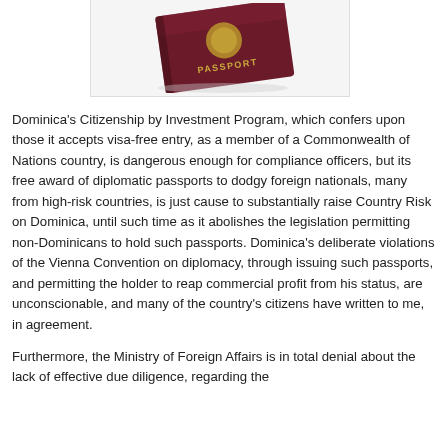[Figure (photo): Partial view of a dark red/burgundy passport with gold lettering reading 'PASSPORT', shown at an angle against a white background with a light grey border box.]
Dominica's Citizenship by Investment Program, which confers upon those it accepts visa-free entry, as a member of a Commonwealth of Nations country, is dangerous enough for compliance officers, but its  free award of diplomatic passports to dodgy foreign nationals, many from high-risk countries, is just cause to substantially raise Country Risk on Dominica, until such time as it abolishes the legislation permitting non-Dominicans to hold such passports. Dominica's deliberate violations of the Vienna Convention on diplomacy, through issuing such passports, and permitting the holder to reap commercial profit from his status, are unconscionable, and many of the country's citizens have written to me, in agreement.
Furthermore, the Ministry of Foreign Affairs is in total denial about the lack of effective due diligence, regarding the